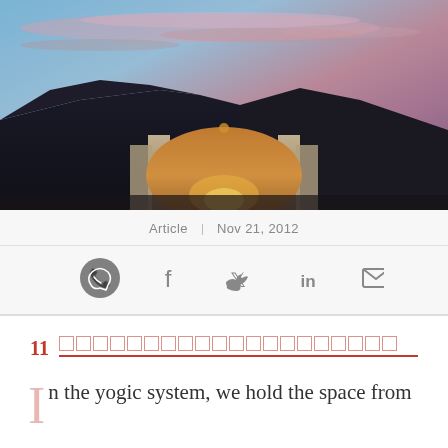[Figure (photo): Architectural photograph at dusk showing a large domed structure (orange/brown) between concrete walls, set against a mountain silhouette and dramatic pink/purple sky with clouds]
Article | Nov 21, 2012
[Figure (other): Social sharing icons: WhatsApp, Facebook, Twitter, LinkedIn, Email]
11 [decorative boxes representing chapter title text]
n the yogic system, we hold the space from